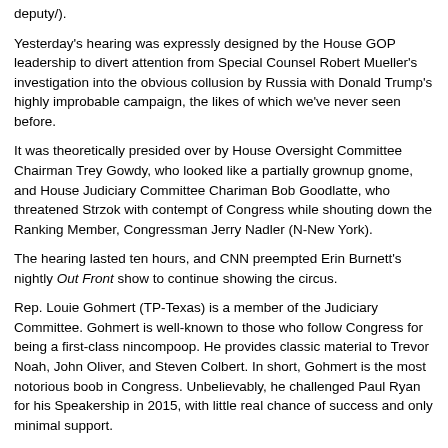deputy/).
Yesterday's hearing was expressly designed by the House GOP leadership to divert attention from Special Counsel Robert Mueller's investigation into the obvious collusion by Russia with Donald Trump's highly improbable campaign, the likes of which we've never seen before.
It was theoretically presided over by House Oversight Committee Chairman Trey Gowdy, who looked like a partially grownup gnome, and House Judiciary Committee Chariman Bob Goodlatte, who threatened Strzok with contempt of Congress while shouting down the Ranking Member, Congressman Jerry Nadler (N-New York).
The hearing lasted ten hours, and CNN preempted Erin Burnett's nightly Out Front show to continue showing the circus.
Rep. Louie Gohmert (TP-Texas) is a member of the Judiciary Committee. Gohmert is well-known to those who follow Congress for being a first-class nincompoop. He provides classic material to Trevor Noah, John Oliver, and Steven Colbert. In short, Gohmert is the most notorious boob in Congress. Unbelievably, he challenged Paul Ryan for his Speakership in 2015, with little real chance of success and only minimal support.
At yesterday's hearing, Gohmert went after Strzok, demanding to know how he did or didn't tell his wife about his infidelity with colleague Lisa Page.